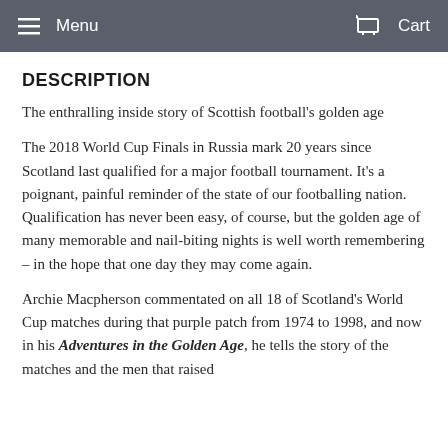Menu  Cart
DESCRIPTION
The enthralling inside story of Scottish football's golden age
The 2018 World Cup Finals in Russia mark 20 years since Scotland last qualified for a major football tournament. It's a poignant, painful reminder of the state of our footballing nation. Qualification has never been easy, of course, but the golden age of many memorable and nail-biting nights is well worth remembering – in the hope that one day they may come again.
Archie Macpherson commentated on all 18 of Scotland's World Cup matches during that purple patch from 1974 to 1998, and now in his Adventures in the Golden Age, he tells the story of the matches and the men that raised